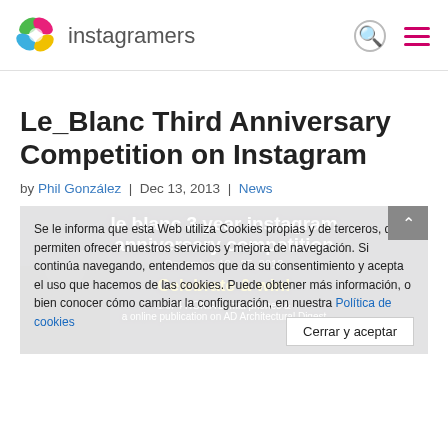instagramers
Le_Blanc Third Anniversary Competition on Instagram
by Phil González | Dec 13, 2013 | News
[Figure (photo): le blanc 3 year instagram anniversary competition banner with text: Celebrate & win! 1 of 4 NOKIA Lumia phones & a online publication on AD Architectural Digest. December 10-25, 2013]
Se le informa que esta Web utiliza Cookies propias y de terceros, que permiten ofrecer nuestros servicios y mejora de navegación. Si continúa navegando, entendemos que da su consentimiento y acepta el uso que hacemos de las cookies. Puede obtener más información, o bien conocer cómo cambiar la configuración, en nuestra Política de cookies